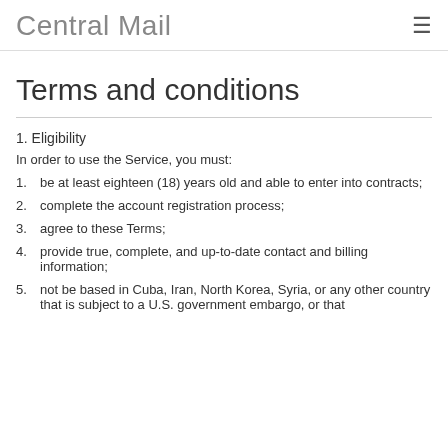Central Mail
Terms and conditions
1. Eligibility
In order to use the Service, you must:
be at least eighteen (18) years old and able to enter into contracts;
complete the account registration process;
agree to these Terms;
provide true, complete, and up-to-date contact and billing information;
not be based in Cuba, Iran, North Korea, Syria, or any other country that is subject to a U.S. government embargo, or that